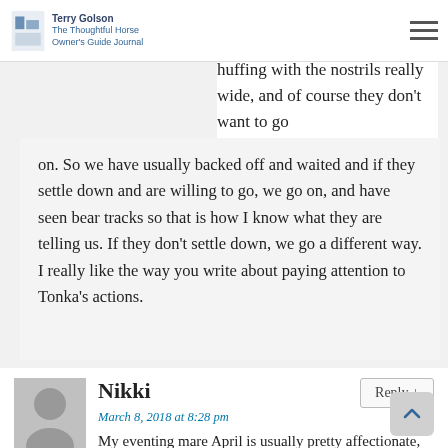Terry Golson - The Thoughtful Horse Owner's Guide
sniff involves an alert head and a lot of deep sniffing and huffing with the nostrils really wide, and of course they don't want to go on. So we have usually backed off and waited and if they settle down and are willing to go, we go on, and have seen bear tracks so that is how I know what they are telling us. If they don't settle down, we go a different way. I really like the way you write about paying attention to Tonka’s actions.
Nikki
March 8, 2018 at 8:28 pm
My eventing mare April is usually pretty affectionate, but this morning when I was putting her studs in, she leaned her head down to where I was crowched and rested her muzzle on top of my warm,